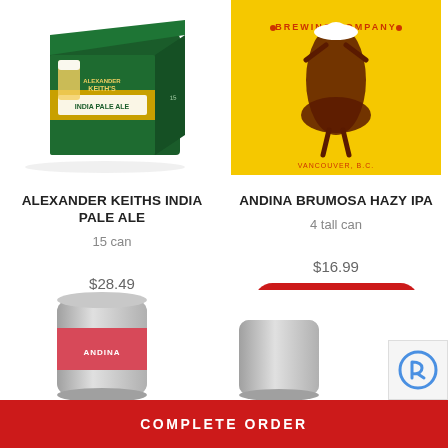[Figure (photo): Alexander Keith's India Pale Ale 15-can box product photo]
[Figure (photo): Andina Brumosa Hazy IPA yellow branded square product image with dancing woman illustration, VANCOUVER, B.C. text]
ALEXANDER KEITHS INDIA PALE ALE
ANDINA BRUMOSA HAZY IPA
15 can
4 tall can
$28.49
$16.99
BUY NOW
VIEW DETAILS
[Figure (photo): Partial beer can with pink/red label, bottom of page]
[Figure (photo): Partial beer can, bottom right area]
[Figure (logo): reCAPTCHA logo badge, bottom right corner]
COMPLETE ORDER